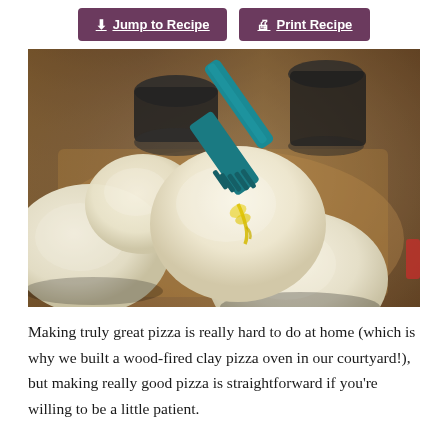[Figure (other): Two purple/plum colored buttons side by side: 'Jump to Recipe' with a download arrow icon on the left, and 'Print Recipe' with a printer icon on the right.]
[Figure (photo): Close-up photo of multiple raw pizza dough balls on a wooden cutting board. A teal/dark cyan silicone pastry brush is being used to brush olive oil onto one of the dough balls. The oil is visible dripping down the dough. Background shows dark containers out of focus.]
Making truly great pizza is really hard to do at home (which is why we built a wood-fired clay pizza oven in our courtyard!), but making really good pizza is straightforward if you're willing to be a little patient.